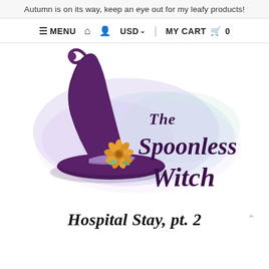Autumn is on its way, keep an eye out for my leafy products!
≡ MENU  🏠  👤  USD ∨     MY CART 🛒 0
[Figure (logo): The Spoonless Witch logo: a 3D purple witch hat with a flower (sunflower) decoration on a lavender/mint watercolor cloud background, with cursive text reading 'The Spoonless Witch']
Hospital Stay, pt. 2